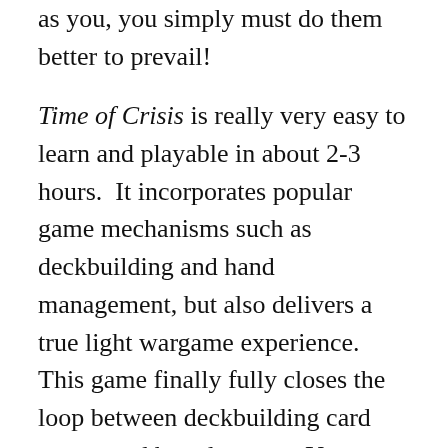as you, you simply must do them better to prevail! Time of Crisis is really very easy to learn and playable in about 2-3 hours. It incorporates popular game mechanisms such as deckbuilding and hand management, but also delivers a true light wargame experience. This game finally fully closes the loop between deckbuilding card games and board games. Your cards are used to fuel actions and players can purchase or trash cards from their decks to make them more powerful and efficient for plans in later turns. The game is such strategically that you have many decisions to make about how you will go about building your very own empire. You can specialize in polishing your silvery tongue to